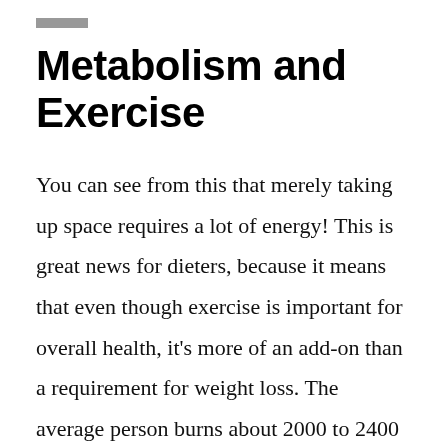Metabolism and Exercise
You can see from this that merely taking up space requires a lot of energy! This is great news for dieters, because it means that even though exercise is important for overall health, it’s more of an add-on than a requirement for weight loss. The average person burns about 2000 to 2400 calories without trips to the gym, and might burn an